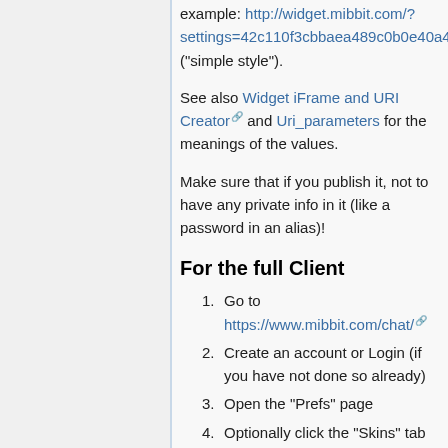example: http://widget.mibbit.com/?settings=42c110f3cbbaea489c0b0e40a40e6e18&... ("simple style").
See also Widget iFrame and URI Creator and Uri_parameters for the meanings of the values.
Make sure that if you publish it, not to have any private info in it (like a password in an alias)!
For the full Client
Go to https://www.mibbit.com/chat/
Create an account or Login (if you have not done so already)
Open the "Prefs" page
Optionally click the "Skins" tab and load an external skin through the "Load A Skin ID:" form